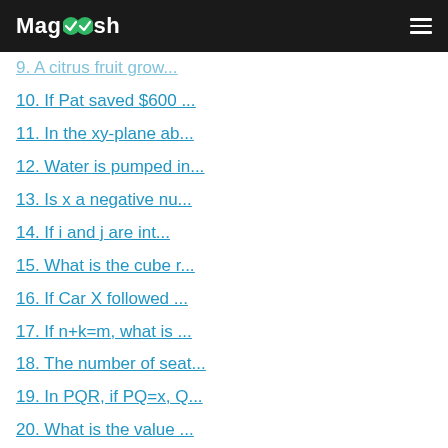Magoosh
9. A citrus fruit grow...
10. If Pat saved $600 ...
11. In the xy-plane ab...
12. Water is pumped in...
13. Is x a negative nu...
14. If i and j are int...
15. What is the cube r...
16. If Car X followed ...
17. If n+k=m, what is ...
18. The number of seat...
19. In PQR, if PQ=x, Q...
20. What is the value ...
21. What percent of th...
22. On a recent trip,...
23. In Mr.Smith's clas...
24. If the sequence S ...
25. On a certain date,...